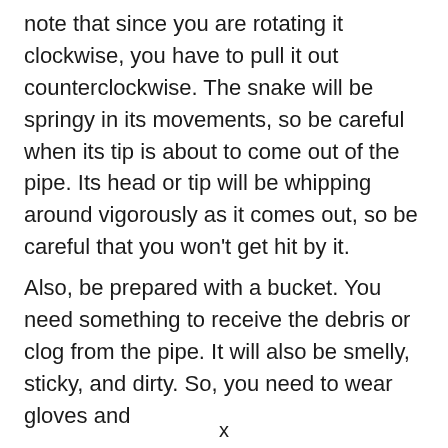note that since you are rotating it clockwise, you have to pull it out counterclockwise. The snake will be springy in its movements, so be careful when its tip is about to come out of the pipe. Its head or tip will be whipping around vigorously as it comes out, so be careful that you won't get hit by it.
Also, be prepared with a bucket. You need something to receive the debris or clog from the pipe. It will also be smelly, sticky, and dirty. So, you need to wear gloves and [text cut off]
x